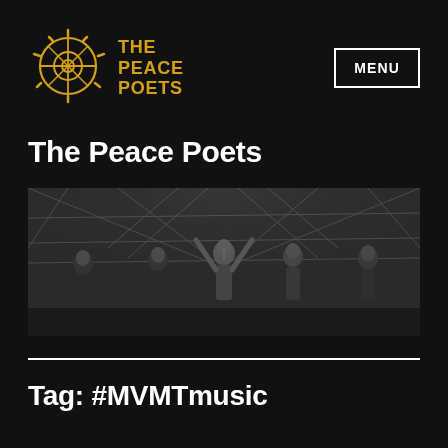[Figure (logo): The Peace Poets logo: golden sun/mandala symbol with circular spokes and rays, with 'THE PEACE POETS' text in gold to the right]
MENU
The Peace Poets
[Figure (photo): Black and white photo of a group of performers on stage under a tent structure, several with arms raised, performing at an outdoor event]
Tag: #MVMTmusic